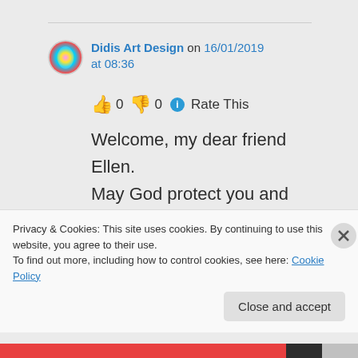Didis Art Design on 16/01/2019 at 08:36
👍 0 👎 0 ℹ Rate This
Welcome, my dear friend Ellen.
May God protect you and yours
From heart to heart
Didi
Privacy & Cookies: This site uses cookies. By continuing to use this website, you agree to their use.
To find out more, including how to control cookies, see here: Cookie Policy
Close and accept